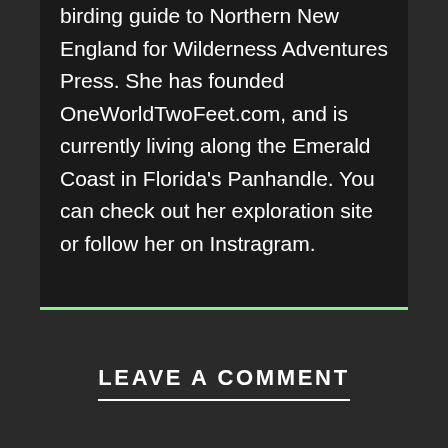birding guide to Northern New England for Wilderness Adventures Press. She has founded OneWorldTwoFeet.com, and is currently living along the Emerald Coast in Florida's Panhandle. You can check out her exploration site or follow her on Instragram.
LEAVE A COMMENT